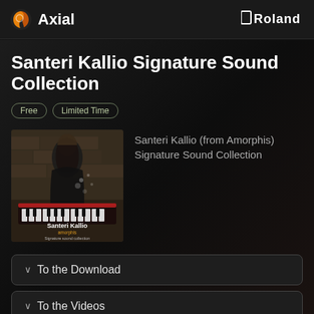Axial | Roland
Santeri Kallio Signature Sound Collection
Free  Limited Time
[Figure (photo): Album art showing Santeri Kallio with keyboard synthesizer. Text overlay: 'Santeri Kallio amorphis Signature sound collection']
Santeri Kallio (from Amorphis) Signature Sound Collection
✓ To the Download
✓ To the Videos